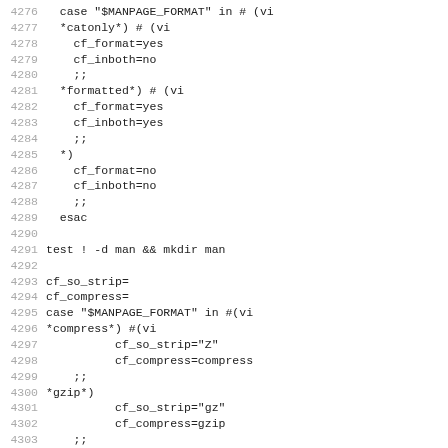[Figure (screenshot): Shell script source code lines 4276–4307 showing a case statement for MANPAGE_FORMAT variable handling catonly, formatted, and wildcard cases, followed by directory creation, variable assignments for cf_so_strip and cf_compress with another case statement for compress and gzip formats, and final variable assignments for cf_edit_man and cf_man_alias.]